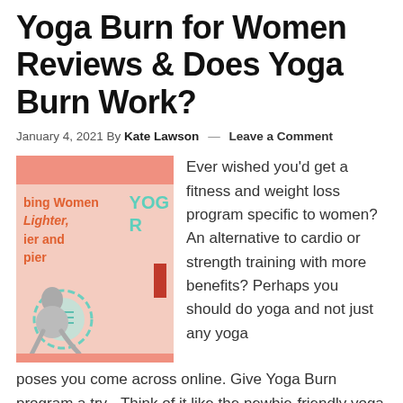Yoga Burn for Women Reviews & Does Yoga Burn Work?
January 4, 2021 By Kate Lawson — Leave a Comment
[Figure (illustration): Book cover for Yoga Burn for Women with salmon/pink background, partial text visible: 'bing Women Lighter, ier and pier' and 'YOG R' in teal, with a teal stamp/seal and grey figure, plus a small red rectangle]
Ever wished you'd get a fitness and weight loss program specific to women? An alternative to cardio or strength training with more benefits? Perhaps you should do yoga and not just any yoga poses you come across online. Give Yoga Burn program a try - Think of it like the newbie-friendly yoga – yoga instructions that will turn your cracking joints into smooth and fluid body … [Read more...]